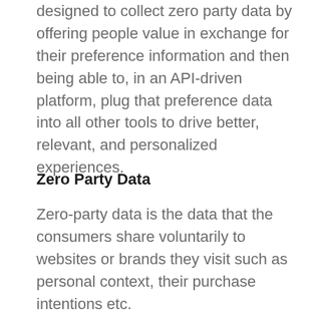designed to collect zero party data by offering people value in exchange for their preference information and then being able to, in an API-driven platform, plug that preference data into all other tools to drive better, relevant, and personalized experiences.
Zero Party Data
Zero-party data is the data that the consumers share voluntarily to websites or brands they visit such as personal context, their purchase intentions etc.